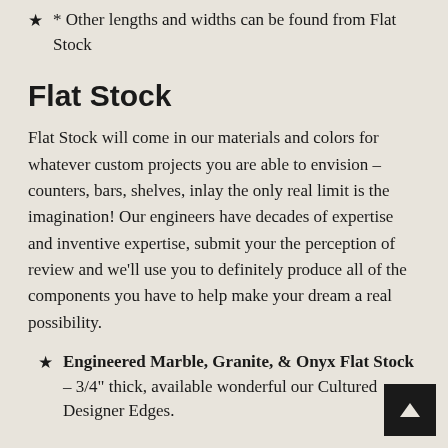* Other lengths and widths can be found from Flat Stock
Flat Stock
Flat Stock will come in our materials and colors for whatever custom projects you are able to envision – counters, bars, shelves, inlay the only real limit is the imagination! Our engineers have decades of expertise and inventive expertise, submit your the perception of review and we&#39;ll use you to definitely produce all of the components you have to help make your dream a real possibility.
Engineered Marble, Granite, & Onyx Flat Stock – 3/4" thick, available wonderful our Cultured Designer Edges.